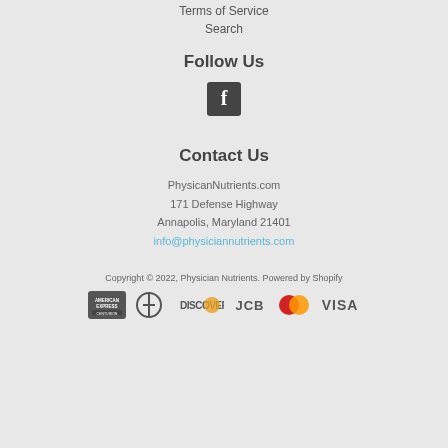Terms of Service
Search
Follow Us
[Figure (logo): Facebook icon - white F on dark square background]
Contact Us
PhysicanNutrients.com
171 Defense Highway
Annapolis, Maryland 21401
info@physiciannutrients.com
Copyright © 2022, Physician Nutrients. Powered by Shopify
[Figure (logo): Payment method logos: American Express, Diners Club, Discover, JCB, MasterCard, Visa]